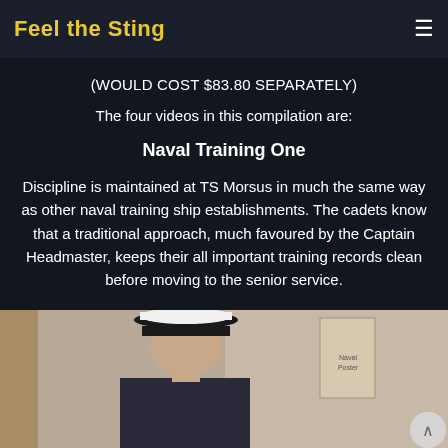Feel the Sting
(WOULD COST $83.80 SEPARATELY)
The four videos in this compilation are:
Naval Training One
Discipline is maintained at TS Morsus in much the same way as other naval training ship establishments. The cadets know that a traditional approach, much favoured by the Captain Headmaster, keeps their all important training records clean before moving to the senior service.
[Figure (photo): Photograph of a young person wearing a white naval cadet hat with a black brim and black band, in a room setting with a wooden panel on the left and a poster on the wall to the right.]